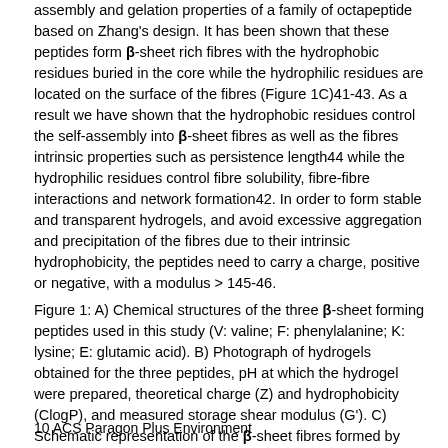assembly and gelation properties of a family of octapeptide based on Zhang's design. It has been shown that these peptides form β-sheet rich fibres with the hydrophobic residues buried in the core while the hydrophilic residues are located on the surface of the fibres (Figure 1C)41-43. As a result we have shown that the hydrophobic residues control the self-assembly into β-sheet fibres as well as the fibres intrinsic properties such as persistence length44 while the hydrophilic residues control fibre solubility, fibre-fibre interactions and network formation42. In order to form stable and transparent hydrogels, and avoid excessive aggregation and precipitation of the fibres due to their intrinsic hydrophobicity, the peptides need to carry a charge, positive or negative, with a modulus > 145-46.
Figure 1: A) Chemical structures of the three β-sheet forming peptides used in this study (V: valine; F: phenylalanine; K: lysine; E: glutamic acid). B) Photograph of hydrogels obtained for the three peptides, pH at which the hydrogel were prepared, theoretical charge (Z) and hydrophobicity (ClogP), and measured storage shear modulus (G'). C) Schematic representation of the β-sheet fibres formed by these peptides showing the hydrophobic core and the hydrophilic surface.
10 ACS Paragon Plus Environment